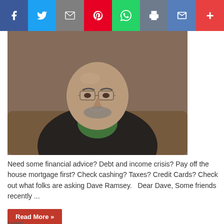[Figure (photo): Social media share bar with icons for Facebook, Twitter, Email, Pinterest, WhatsApp, Print, Gmail, and More]
[Figure (photo): Portrait photo of a middle-aged bald man with glasses wearing a black suit and green shirt, seated in a brown leather chair]
Need some financial advice? Debt and income crisis? Pay off the house mortgage first? Check cashing? Taxes? Credit Cards? Check out what folks are asking Dave Ramsey.   Dear Dave, Some friends recently ...
Read More »
tweet
[Figure (other): LinkedIn Share button and Pinterest Save button]
Dear Dave,